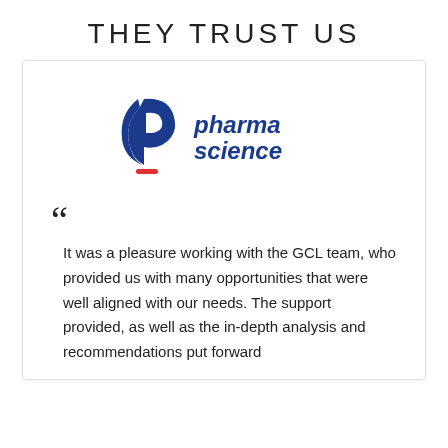THEY TRUST US
[Figure (logo): Pharma Science logo — a dark blue stylized letter P with a crescent arc shape, and a red dash below, next to the text 'pharma science' in dark blue italic font]
It was a pleasure working with the GCL team, who provided us with many opportunities that were well aligned with our needs. The support provided, as well as the in-depth analysis and recommendations put forward